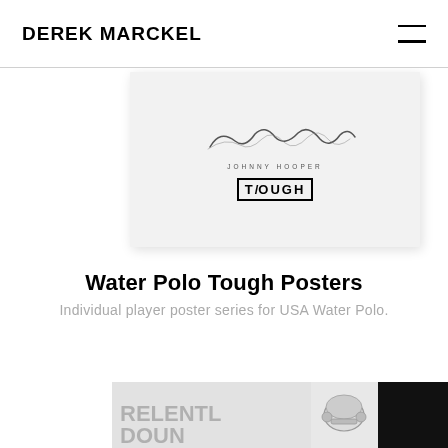DEREK MARCKEL
[Figure (illustration): A partial view of a Water Polo Tough poster featuring a cursive signature, 'JOHNNY HOOPER' text, and 'TOUGH' logo on a light gray background]
Water Polo Tough Posters
Individual player poster series for USA Water Polo.
[Figure (illustration): Bottom strip showing partial poster images: a 'RELENTLESS' text poster in gray, a water polo player helmet/cap in center, and a black poster on the right]